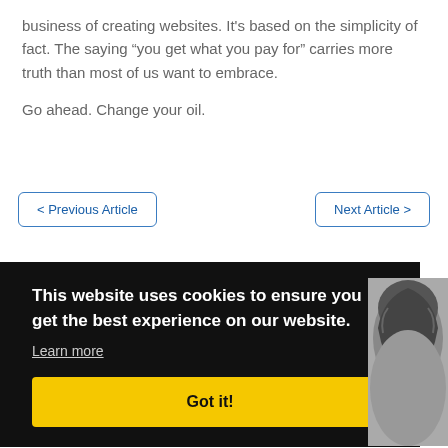business of creating websites. It's based on the simplicity of fact. The saying “you get what you pay for” carries more truth than most of us want to embrace.
Go ahead. Change your oil.
< Previous Article
Next Article >
This website uses cookies to ensure you get the best experience on our website.
Learn more
Got it!